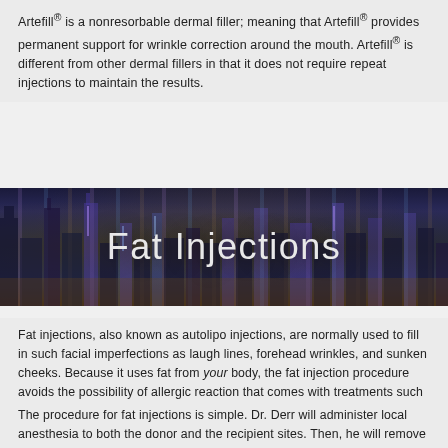Artefill® is a nonresorbable dermal filler; meaning that Artefill® provides permanent support for wrinkle correction around the mouth. Artefill® is different from other dermal fillers in that it does not require repeat injections to maintain the results.
[Figure (photo): Blue-tinted nighttime city skyline banner image with tall illuminated buildings, used as a decorative header background for the 'Fat Injections' section title.]
Fat Injections
Fat injections, also known as autolipo injections, are normally used to fill in such facial imperfections as laugh lines, forehead wrinkles, and sunken cheeks. Because it uses fat from your body, the fat injection procedure avoids the possibility of allergic reaction that comes with treatments such as collagen injections.
The procedure for fat injections is simple. Dr. Derr will administer local anesthesia to both the donor and the recipient sites. Then, he will remove fat